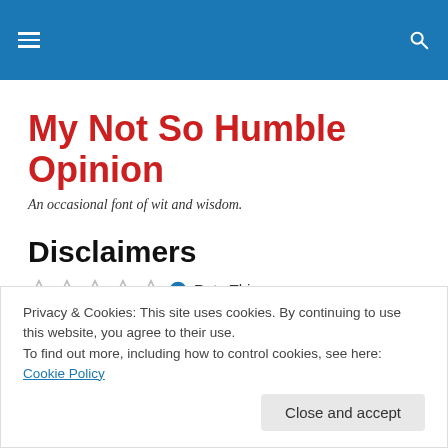My Not So Humble Opinion — site navigation bar
My Not So Humble Opinion
An occasional font of wit and wisdom.
Disclaimers
Rate This
In accordance with Federal law, we are including the
Privacy & Cookies: This site uses cookies. By continuing to use this website, you agree to their use.
To find out more, including how to control cookies, see here: Cookie Policy
Close and accept